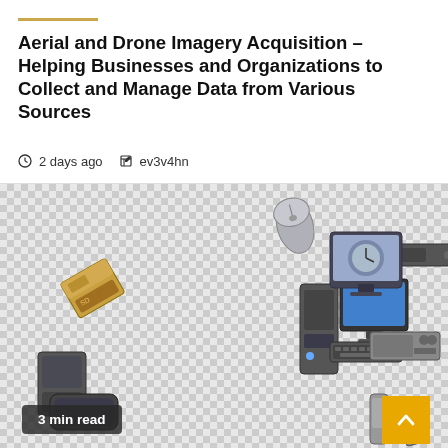Aerial and Drone Imagery Acquisition – Helping Businesses and Organizations to Collect and Manage Data from Various Sources
2 days ago   ev3v4hn
[Figure (illustration): Checkerboard background showing various computer hardware and electronic devices including a mouse, hard drive, memory card, desktop computer with monitor and keyboard, monitor with clock display, small speakers, handheld device, external hard drive, laptop/tablet, and phone/remote controls scattered on the image.]
3 min read